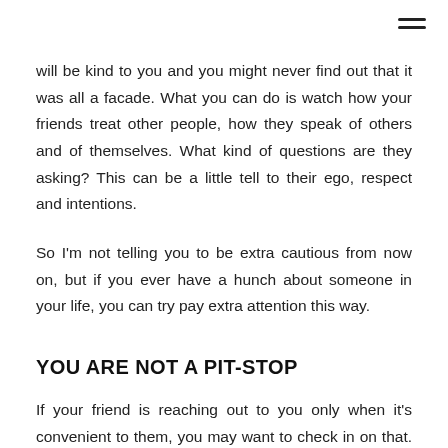menu icon
will be kind to you and you might never find out that it was all a facade. What you can do is watch how your friends treat other people, how they speak of others and of themselves. What kind of questions are they asking? This can be a little tell to their ego, respect and intentions.
So I'm not telling you to be extra cautious from now on, but if you ever have a hunch about someone in your life, you can try pay extra attention this way.
YOU ARE NOT A PIT-STOP
If your friend is reaching out to you only when it's convenient to them, you may want to check in on that. A real friend would be there for you regardless of what's in it for them.